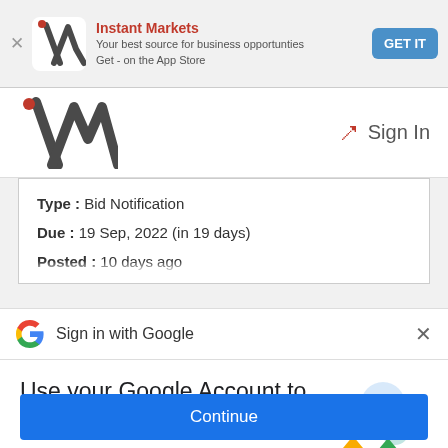[Figure (screenshot): App install banner for Instant Markets with logo, description, and GET IT button]
[Figure (logo): Instant Markets website header with IM logo and Sign In button]
Type : Bid Notification
Due : 19 Sep, 2022 (in 19 days)
Posted : 10 days ago
[Figure (screenshot): Sign in with Google bar with Google G logo and X close button]
Use your Google Account to sign in to instantmarkets.com
No more passwords to remember. Signing in is fast, simple and secure.
[Figure (illustration): Google account key/lock illustration with colorful icons]
Continue